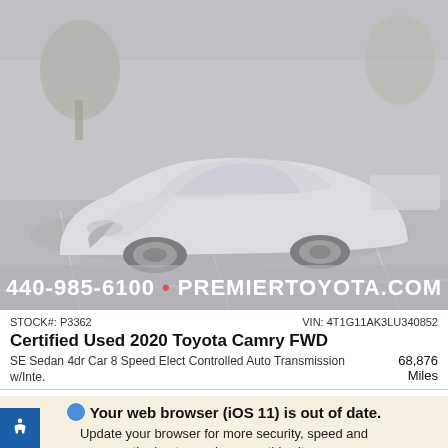[Figure (photo): White 2020 Toyota Camry sedan parked in a dealership parking lot. The car is facing slightly left, with trees and other vehicles visible in the background. The image has a faded/washed-out overlay. Phone number and website overlay at bottom: 440-985-6100 • PREMIERTOYOTA.COM]
STOCK#: P3362    VIN: 4T1G11AK3LU340852
Certified Used 2020 Toyota Camry FWD
SE Sedan 4dr Car 8 Speed Elect Controlled Auto Transmission w/Inte.    68,876 Miles
Your web browser (iOS 11) is out of date.
Update your browser for more security, speed and the best experience on this site.
Update browser    Ignore